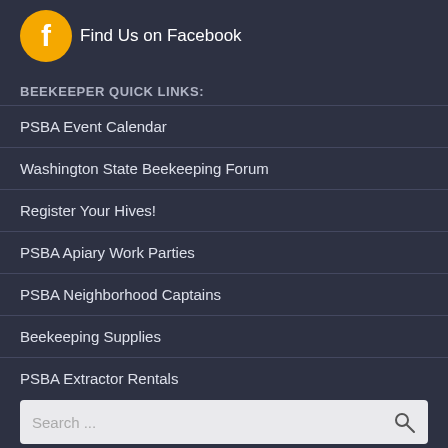[Figure (logo): Facebook logo icon — yellow circle with white letter f]
Find Us on Facebook
BEEKEEPER QUICK LINKS:
PSBA Event Calendar
Washington State Beekeeping Forum
Register Your Hives!
PSBA Apiary Work Parties
PSBA Neighborhood Captains
Beekeeping Supplies
PSBA Extractor Rentals
Search ...